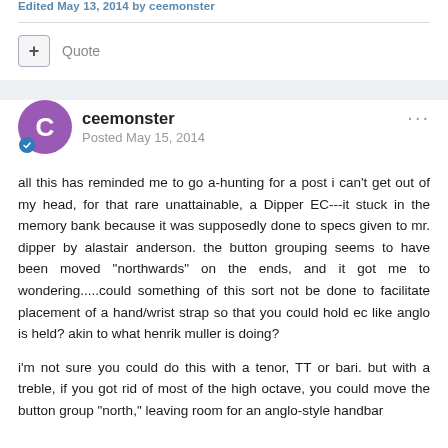Edited May 13, 2014 by ceemonster
Quote
ceemonster
Posted May 15, 2014
all this has reminded me to go a-hunting for a post i can't get out of my head, for that rare unattainable, a Dipper EC---it stuck in the memory bank because it was supposedly done to specs given to mr. dipper by alastair anderson. the button grouping seems to have been moved "northwards" on the ends, and it got me to wondering.....could something of this sort not be done to facilitate placement of a hand/wrist strap so that you could hold ec like anglo is held? akin to what henrik muller is doing?
i'm not sure you could do this with a tenor, TT or bari. but with a treble, if you got rid of most of the high octave, you could move the button group "north," leaving room for an anglo-style handbar